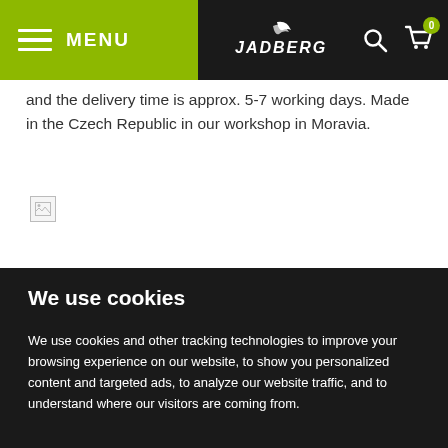MENU | JADBERG | 0
and the delivery time is approx. 5-7 working days. Made in the Czech Republic in our workshop in Moravia.
[Figure (other): Broken image placeholder icon]
We use cookies
We use cookies and other tracking technologies to improve your browsing experience on our website, to show you personalized content and targeted ads, to analyze our website traffic, and to understand where our visitors are coming from.